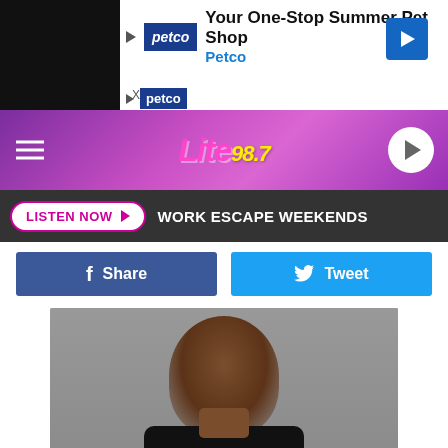[Figure (screenshot): Petco advertisement banner: 'Your One-Stop Summer Pet Shop' with Petco logo]
[Figure (logo): Lite 98.7 radio station header with pink/purple gradient background and play button]
LISTEN NOW ▶  WORK ESCAPE WEEKENDS
Share   Tweet
[Figure (photo): Mugshot photo of Christopher Chinloy]
New York State Department of Corrections and Community Supervision
CHRISTOPHER CHINLOY
Christopher's location of Crime: New York City
Subject is Violent Felony Offender with a history of weapons